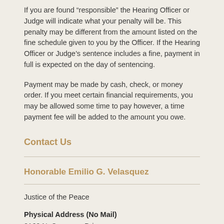If you are found “responsible” the Hearing Officer or Judge will indicate what your penalty will be. This penalty may be different from the amount listed on the fine schedule given to you by the Officer. If the Hearing Officer or Judge’s sentence includes a fine, payment in full is expected on the day of sentencing.
Payment may be made by cash, check, or money order. If you meet certain financial requirements, you may be allowed some time to pay however, a time payment fee will be added to the amount you owe.
Contact Us
Honorable Emilio G. Velasquez
Justice of the Peace
Physical Address (No Mail)
2160 N. Congress Drive
Suite 2100
Nogales, AZ 85621